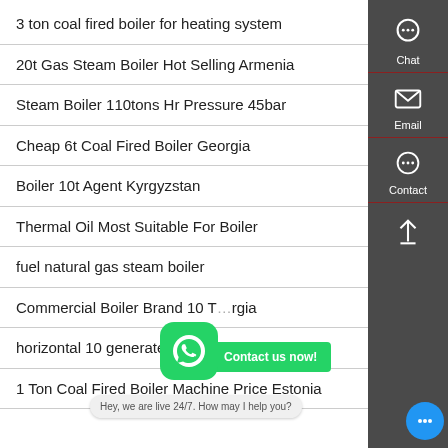3 ton coal fired boiler for heating system
20t Gas Steam Boiler Hot Selling Armenia
Steam Boiler 110tons Hr Pressure 45bar
Cheap 6t Coal Fired Boiler Georgia
Boiler 10t Agent Kyrgyzstan
Thermal Oil Most Suitable For Boiler
fuel natural gas steam boiler
Commercial Boiler Brand 10 T…rgia
horizontal 10 generated boiler
1 Ton Coal Fired Boiler Machine Price Estonia
[Figure (screenshot): Right sidebar with Chat, Email, and Contact icons on dark grey background]
[Figure (logo): WhatsApp green rounded square icon]
[Figure (infographic): Contact us now green speech bubble]
Hey, we are live 24/7. How may I help you?